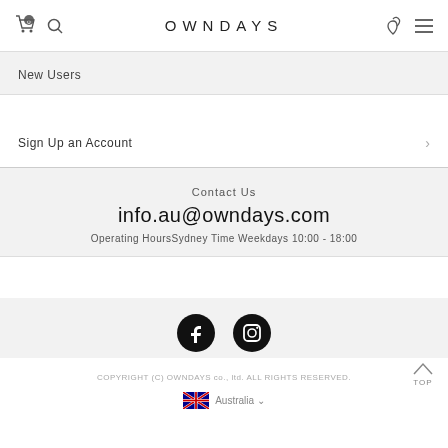OWNDAYS
New Users
Sign Up an Account
Contact Us
info.au@owndays.com
Operating HoursSydney Time Weekdays 10:00 - 18:00
[Figure (illustration): Facebook and Instagram social media icons]
COPYRIGHT (C) OWNDAYS co., ltd. ALL RIGHTS RESERVED.
Australia